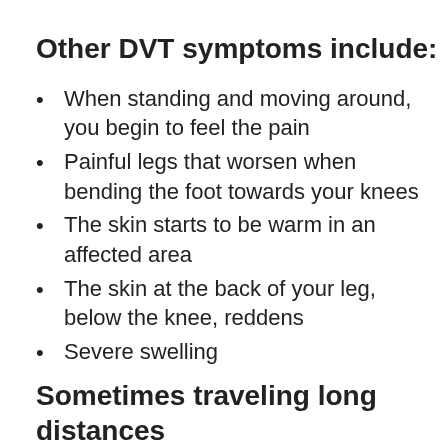Other DVT symptoms include:
When standing and moving around, you begin to feel the pain
Painful legs that worsen when bending the foot towards your knees
The skin starts to be warm in an affected area
The skin at the back of your leg, below the knee, reddens
Severe swelling
Sometimes traveling long distances